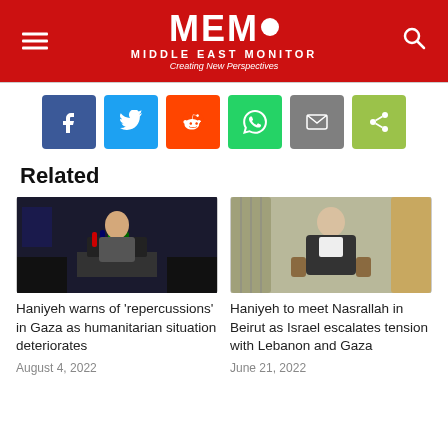MEMO MIDDLE EAST MONITOR - Creating New Perspectives
[Figure (infographic): Social share buttons: Facebook, Twitter, Reddit, WhatsApp, Email, Share]
Related
[Figure (photo): Haniyeh speaking at a podium with microphones]
Haniyeh warns of 'repercussions' in Gaza as humanitarian situation deteriorates
August 4, 2022
[Figure (photo): Haniyeh seated in a formal setting]
Haniyeh to meet Nasrallah in Beirut as Israel escalates tension with Lebanon and Gaza
June 21, 2022